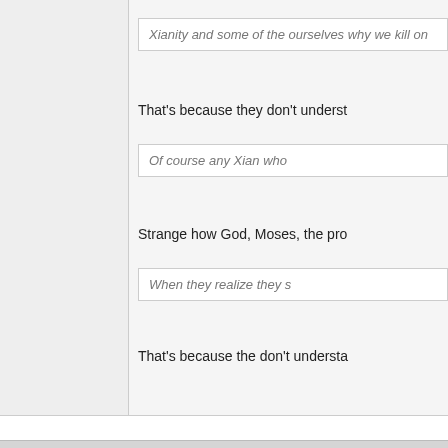Xianity and some of the ourselves why we kill on
That's because they don't underst
Of course any Xian who
Strange how God, Moses, the pro
When they realize they s
That's because the don't understa
The Raven · June 18th, 2022, 12:42 AM
Forum Freshman